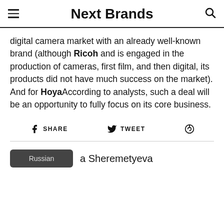Next Brands
digital camera market with an already well-known brand (although Ricoh and is engaged in the production of cameras, first film, and then digital, its products did not have much success on the market). And for HoyaAccording to analysts, such a deal will be an opportunity to fully focus on its core business.
SHARE  TWEET  (pinterest icon)
Russian  a Sheremetyeva